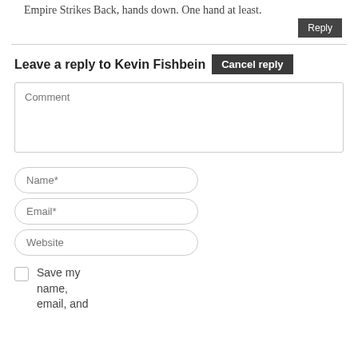Empire Strikes Back, hands down. One hand at least.
Reply
Leave a reply to Kevin Fishbein Cancel reply
Comment
Name*
Email*
Website
Save my name, email, and